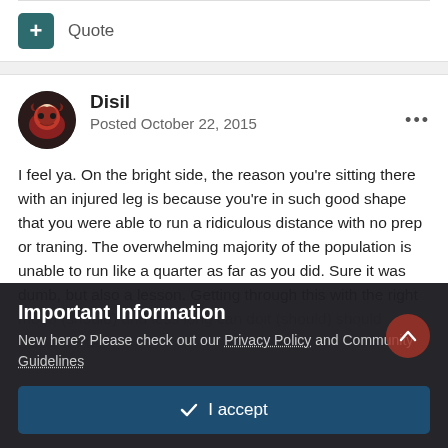+ Quote
Disil
Posted October 22, 2015
I feel ya. On the bright side, the reason you're sitting there with an injured leg is because you're in such good shape that you were able to run a ridiculous distance with no prep or traning. The overwhelming majority of the population is unable to run like a quarter as far as you did. Sure it was dumb, but also a lesson. Getting through this with the right ...
Important Information
New here? Please check out our Privacy Policy and Community Guidelines
✓ I accept